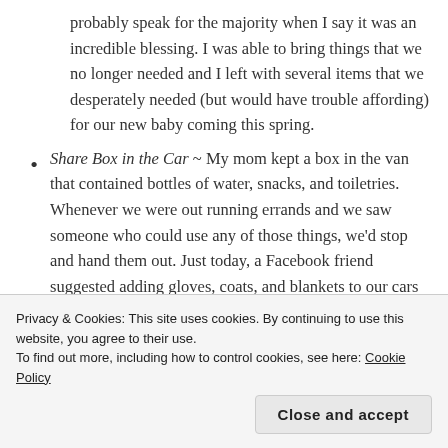probably speak for the majority when I say it was an incredible blessing. I was able to bring things that we no longer needed and I left with several items that we desperately needed (but would have trouble affording) for our new baby coming this spring.
Share Box in the Car ~ My mom kept a box in the van that contained bottles of water, snacks, and toiletries. Whenever we were out running errands and we saw someone who could use any of those things, we'd stop and hand them out. Just today, a Facebook friend suggested adding gloves, coats, and blankets to our cars for sharing with those in need. It's a great idea for an act
Privacy & Cookies: This site uses cookies. By continuing to use this website, you agree to their use.
To find out more, including how to control cookies, see here: Cookie Policy